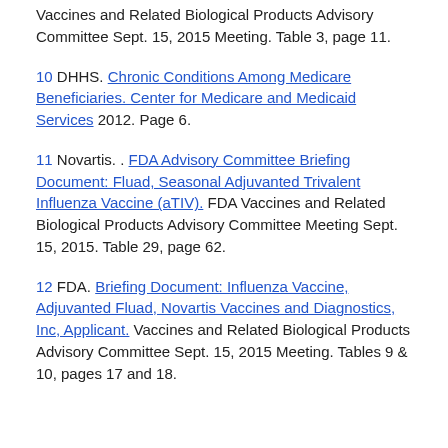Vaccines and Related Biological Products Advisory Committee Sept. 15, 2015 Meeting. Table 3, page 11.
10 DHHS. Chronic Conditions Among Medicare Beneficiaries. Center for Medicare and Medicaid Services 2012. Page 6.
11 Novartis. . FDA Advisory Committee Briefing Document: Fluad, Seasonal Adjuvanted Trivalent Influenza Vaccine (aTIV). FDA Vaccines and Related Biological Products Advisory Committee Meeting Sept. 15, 2015. Table 29, page 62.
12 FDA. Briefing Document: Influenza Vaccine, Adjuvanted Fluad, Novartis Vaccines and Diagnostics, Inc, Applicant. Vaccines and Related Biological Products Advisory Committee Sept. 15, 2015 Meeting. Tables 9 & 10, pages 17 and 18.